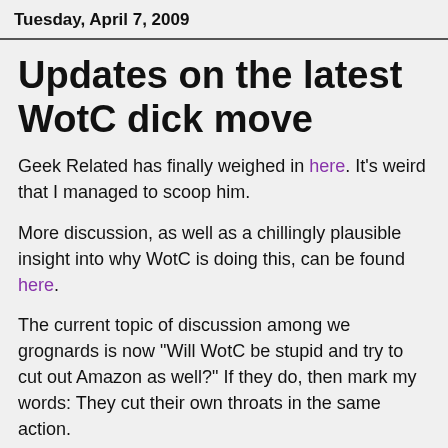Tuesday, April 7, 2009
Updates on the latest WotC dick move
Geek Related has finally weighed in here. It's weird that I managed to scoop him.
More discussion, as well as a chillingly plausible insight into why WotC is doing this, can be found here.
The current topic of discussion among we grognards is now "Will WotC be stupid and try to cut out Amazon as well?" If they do, then mark my words: They cut their own throats in the same action.
I wouldn't wager on a brick-and-mortar distribution in even the best of economies, let alone in a recession which has companies failing left and right.
Of course, some folks this is a preliminary move towards